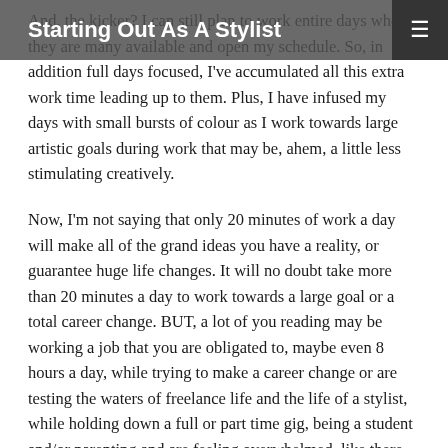Starting Out As A Stylist
And, the kicker? I can still plan to work entire days when they are many available and open my schedule. So, in addition full days focused, I've accumulated all this extra work time leading up to them. Plus, I have infused my days with small bursts of colour as I work towards large artistic goals during work that may be, ahem, a little less stimulating creatively.
Now, I'm not saying that only 20 minutes of work a day will make all of the grand ideas you have a reality, or guarantee huge life changes. It will no doubt take more than 20 minutes a day to work towards a large goal or a total career change. BUT, a lot of you reading may be working a job that you are obligated to, maybe even 8 hours a day, while trying to make a career change or are testing the waters of freelance life and the life of a stylist, while holding down a full or part time gig, being a student and/or parenting and are feeling overwhelmed, like there isn't enough time to focus on the goals that you need to accomplish to further your